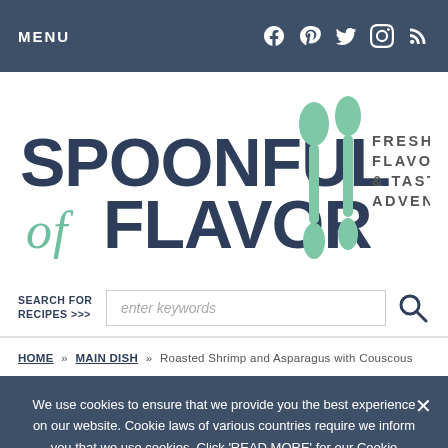MENU | [social icons: Facebook, Pinterest, Twitter, Instagram, RSS]
[Figure (logo): Spoonful of Flavor logo with two spoon icons and tagline FRESH FLAVORS & TASTY ADVENTURES]
SEARCH FOR RECIPES >>> enter keywords [search icon]
HOME » MAIN DISH » Roasted Shrimp and Asparagus with Couscous
We use cookies to ensure that we provide you the best experience on our website. Cookie laws of various countries require we inform you that we use cookies. Click 'READ MORE' for our Cookie Policy. Ok Read more